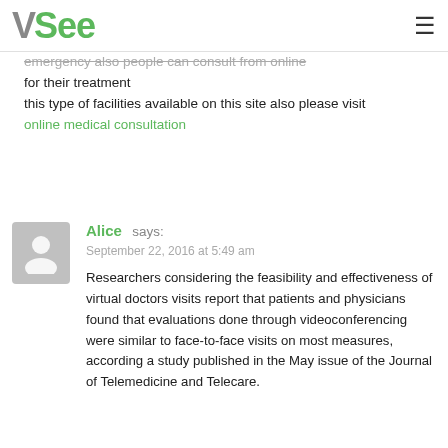VSee
emergency also people can consult from online for their treatment
this type of facilities available on this site also please visit
online medical consultation
Alice says:
September 22, 2016 at 5:49 am
Researchers considering the feasibility and effectiveness of virtual doctors visits report that patients and physicians found that evaluations done through videoconferencing were similar to face-to-face visits on most measures, according a study published in the May issue of the Journal of Telemedicine and Telecare.